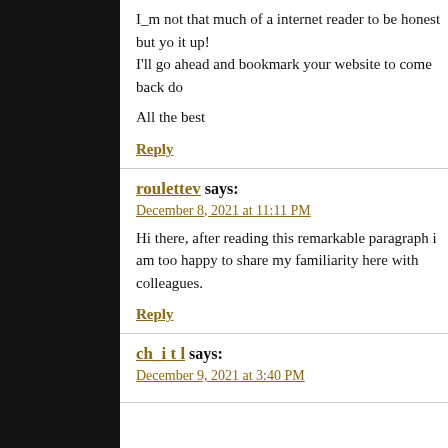I_m not that much of a internet reader to be honest but yo it up! I'll go ahead and bookmark your website to come back do
All the best
Reply
roulettev says:
December 8, 2021 at 11:11 PM
Hi there, after reading this remarkable paragraph i am too happy to share my familiarity here with colleagues.
Reply
ch_i t l says:
December 9, 2021 at 3:40 PM